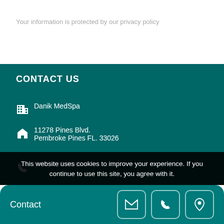Your information is protected by our privacy policy
CONTACT US
Danik MedSpa
11278 Pines Blvd. Pembroke Pines FL. 33026
(954) 432 4343
http://danikmeds...
This website uses cookies to improve your experience. If you continue to use this site, you agree with it.
Contact